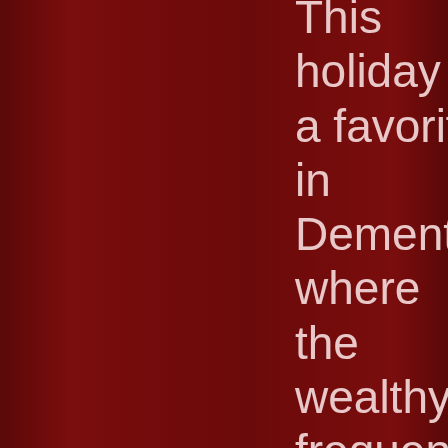This holiday is a favorite in Dementlieu, where the wealthy frequently exchange slightly risqué gifts such